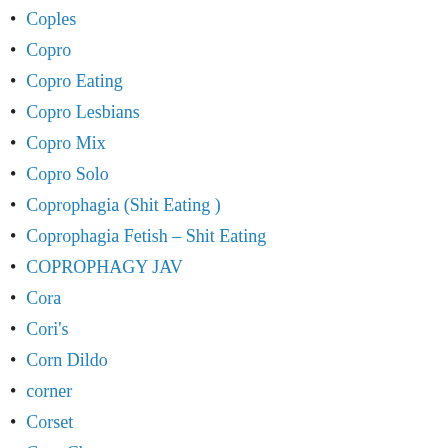Coples
Copro
Copro Eating
Copro Lesbians
Copro Mix
Copro Solo
Coprophagia (Shit Eating )
Coprophagia Fetish – Shit Eating
COPROPHAGY JAV
Cora
Cori's
Corn Dildo
corner
Corset
Cory Chase
Cosmic Girl Summer